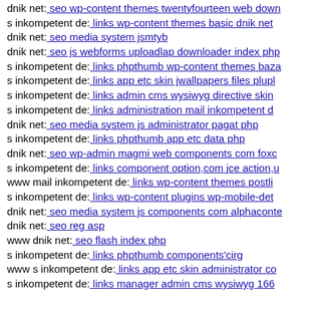dnik net: seo wp-content themes twentyfourteen web down
s inkompetent de: links wp-content themes basic dnik net
dnik net: seo media system jsmtyb
dnik net: seo js webforms uploadlap downloader index php
s inkompetent de: links phpthumb wp-content themes baza
s inkompetent de: links app etc skin jwallpapers files plupl
s inkompetent de: links admin cms wysiwyg directive skin
s inkompetent de: links administration mail inkompetent d
dnik net: seo media system js administrator pagat php
s inkompetent de: links phpthumb app etc data php
dnik net: seo wp-admin magmi web components com foxc
s inkompetent de: links component option,com jce action,u
www mail inkompetent de: links wp-content themes postli
s inkompetent de: links wp-content plugins wp-mobile-det
dnik net: seo media system js components com alphaconte
dnik net: seo reg asp
www dnik net: seo flash index php
s inkompetent de: links phpthumb components'cirg
www s inkompetent de: links app etc skin administrator co
s inkompetent de: links manager admin cms wysiwyg 166